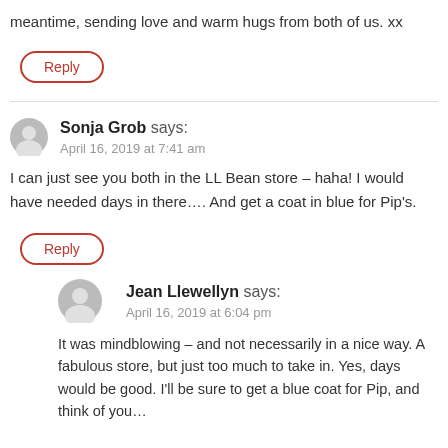meantime, sending love and warm hugs from both of us. xx
Reply
Sonja Grob says:
April 16, 2019 at 7:41 am
I can just see you both in the LL Bean store – haha! I would have needed days in there…. And get a coat in blue for Pip's.
Reply
Jean Llewellyn says:
April 16, 2019 at 6:04 pm
It was mindblowing – and not necessarily in a nice way. A fabulous store, but just too much to take in. Yes, days would be good. I'll be sure to get a blue coat for Pip, and think of you...